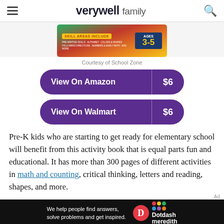verywell family
[Figure (illustration): Advertisement banner for School Zone activity book showing skill areas include pre-writing skills, alphabet, colors and shapes, following directions, numbers and early math, and more. Ages 3-5.]
Courtesy of School Zone
View On Amazon $6
View On Walmart $6
Pre-K kids who are starting to get ready for elementary school will benefit from this activity book that is equal parts fun and educational. It has more than 300 pages of different activities in math and counting, critical thinking, letters and reading, shapes, and more.
[Figure (infographic): Dotdash Meredith footer advertisement: We help people find answers, solve problems and get inspired.]